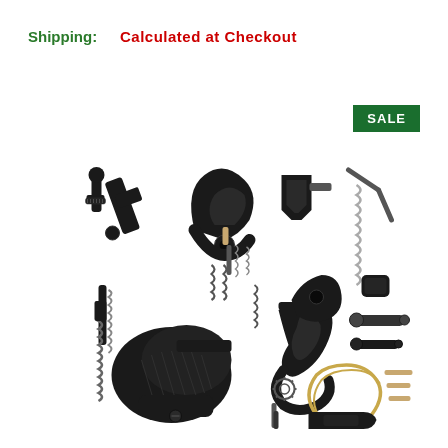Shipping:
Calculated at Checkout
SALE
[Figure (photo): AR-15 lower parts kit spread out showing individual components including trigger, hammer, bolt catch, magazine release, grip, springs, pins, and other small parts on a white background.]